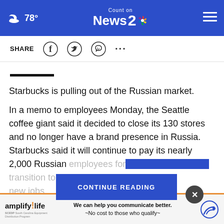Count on News 2 NBC — 78°
SHARE
Starbucks is pulling out of the Russian market.
In a memo to employees Monday, the Seattle coffee giant said it decided to close its 130 stores and no longer have a brand presence in Russia. Starbucks said it will continue to pay its nearly 2,000 Russian employees for [transition to new jobs]
CONTINUE READING
[Figure (other): amplify!life SCEDP advertisement — We can help you communicate better. ~No cost to those who qualify~]